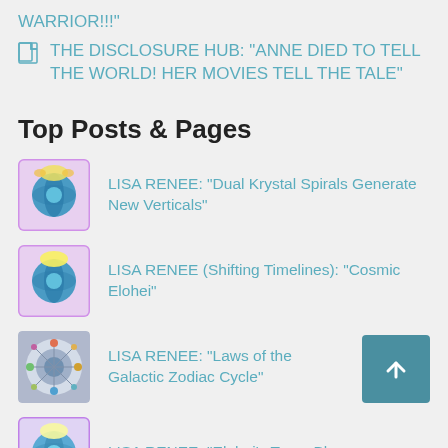WARRIOR!!!"
THE DISCLOSURE HUB: "ANNE DIED TO TELL THE WORLD! HER MOVIES TELL THE TALE"
Top Posts & Pages
LISA RENEE: “Dual Krystal Spirals Generate New Verticals”
LISA RENEE (Shifting Timelines): “Cosmic Elohei”
LISA RENEE: “Laws of the Galactic Zodiac Cycle”
LISA RENEE: “Elohei’s Taran Blue